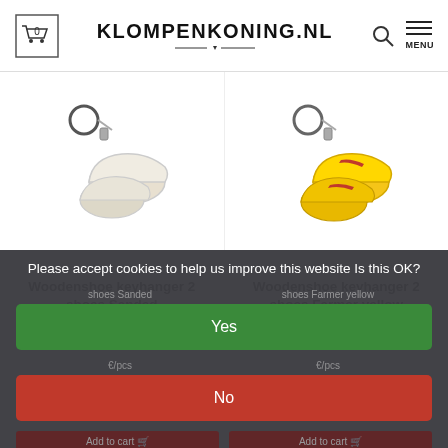KLOMPENKONING.NL
[Figure (photo): Two white wooden shoe keyhangers on a white background]
[Figure (photo): Two yellow farmer wooden shoe keyhangers on a white background]
Woodenshoe keyhanger 2 shoes Sanded
Woodenshoe keyhanger 2 shoes Farmer yellow
Please accept cookies to help us improve this website Is this OK?
Yes
No
More on cookies »